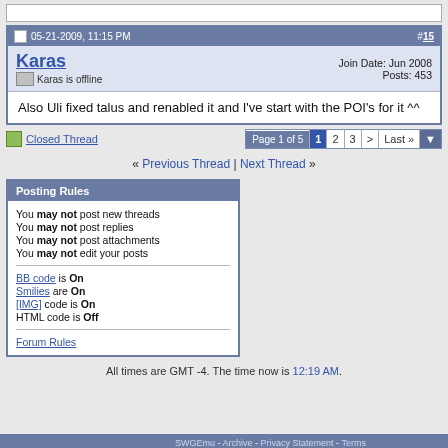(partial post fragment at top)
05-21-2009, 11:15 PM  #15
Karas  Karas is offline  Join Date: Jun 2008  Posts: 453
Also Uli fixed talus and renabled it and I've start with the POI's for it ^^
Closed Thread  Page 1 of 5  1  2  3  >  Last »
« Previous Thread | Next Thread »
Posting Rules
You may not post new threads
You may not post replies
You may not post attachments
You may not edit your posts
BB code is On
Smilies are On
[IMG] code is On
HTML code is Off
Forum Rules
All times are GMT -4. The time now is 12:19 AM.
SWGEmu - Archive - Privacy Statement - Terms